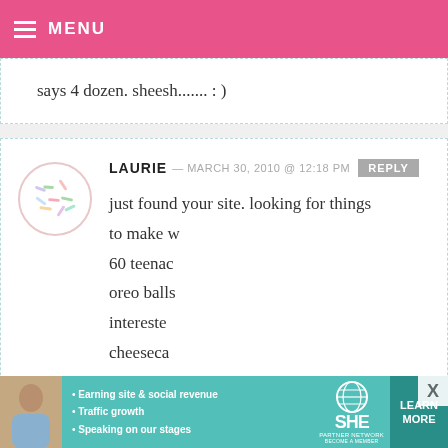MENU
says 4 dozen. sheesh....... : )
LAURIE — MARCH 30, 2010 @ 12:18 PM  REPLY
just found your site. looking for things to make w
60 teenag
oreo balls
intereste
cheeseca
many it makes. do you remember?
[Figure (other): SHE Partner Network advertisement banner with photo of woman, bullet points about earning site & social revenue, traffic growth, speaking on their stages, SHE logo, and Learn More button]